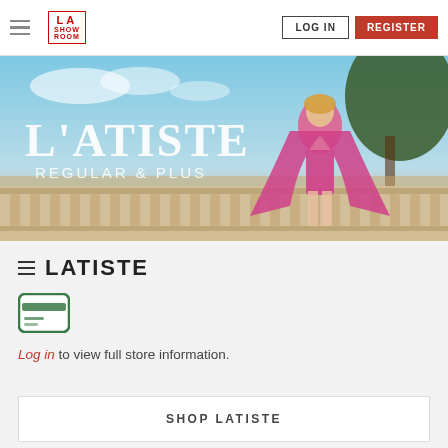LA SHOWROOM — LOG IN | REGISTER
[Figure (photo): Fashion banner for L'Atiste Regular & Plus brand showing a blonde woman in a pink cape dress against a sunny outdoor background with balustrade]
LATISTE
[Figure (other): Credit card icon in green rounded rectangle]
Log in to view full store information.
SHOP LATISTE